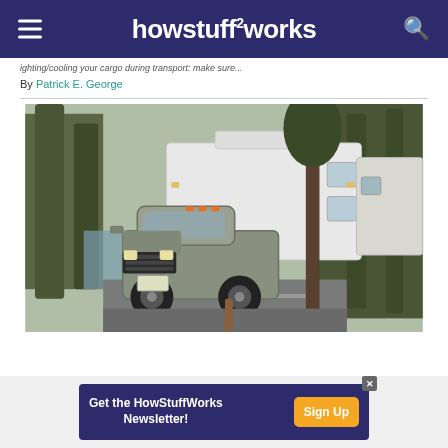howstuffworks
...ighting/cooling your cargo during transport: make sure...
By Patrick E. George
[Figure (photo): A pickup truck towing a large fifth-wheel camper trailer on a wooded campsite road, with trees and a lake visible in the background.]
Get the HowStuffWorks Newsletter! Sign Up